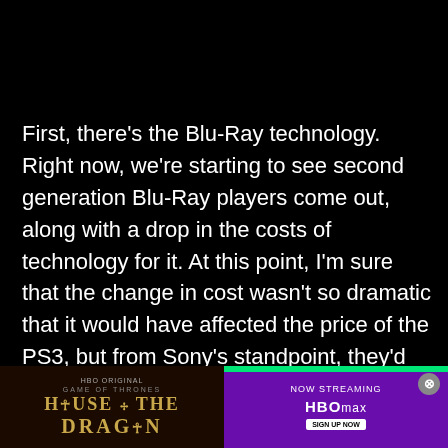First, there's the Blu-Ray technology. Right now, we're starting to see second generation Blu-Ray players come out, along with a drop in the costs of technology for it. At this point, I'm sure that the change in cost wasn't so dramatic that it would have affected the price of the PS3, but from Sony's standpoint, they'd be less in the red on every PS3 sold. We'd also be looking at faster Blu-Ray drives at the time of release, as well (4x as opposed to the current 2x speed). In addition to that [ad overlay] be avail [ad overlay] em
[Figure (other): Advertisement banner overlay at the bottom of the page for HBO Original 'House of the Dragon' with 'Now Streaming on HBO Max' on the right side and a green progress bar at the top. A close (X) button is visible in the upper right of the ad.]